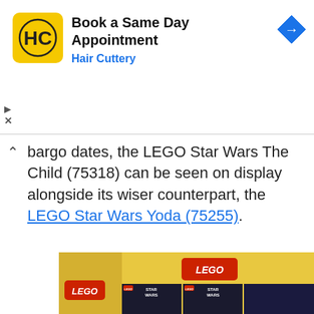[Figure (screenshot): Hair Cuttery advertisement banner: yellow HC logo, 'Book a Same Day Appointment' title, 'Hair Cuttery' subtitle in blue, blue navigation arrow icon on right. Play and X controls at bottom left.]
bargo dates, the LEGO Star Wars The Child (75318) can be seen on display alongside its wiser counterpart, the LEGO Star Wars Yoda (75255).
[Figure (photo): Photo of a LEGO store display shelf showing yellow LEGO branded display unit with LEGO Star Wars sets including The Child (75318) and Yoda (75255) boxes visible on lower shelf.]